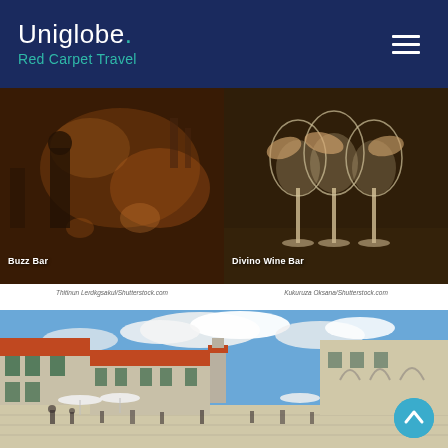[Figure (logo): Uniglobe Red Carpet Travel logo on dark navy background with hamburger menu icon]
[Figure (photo): Buzz Bar - dimly lit bar interior with warm candlelight ambiance]
[Figure (photo): Divino Wine Bar - hands holding wine glasses clinking together]
Thitinun Lerdkgsakul/Shutterstock.com
Kukuruza Oksana/Shutterstock.com
[Figure (photo): Stradun (Placa) main promenade of Dubrovnik old town with tourists walking, stone buildings and a bell tower in background]